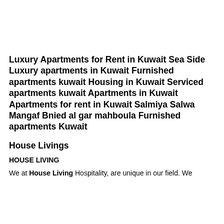Luxury Apartments for Rent in Kuwait Sea Side Luxury apartments in Kuwait Furnished apartments kuwait Housing in Kuwait Serviced apartments kuwait Apartments in Kuwait Apartments for rent in Kuwait Salmiya Salwa Mangaf Bnied al gar mahboula Furnished apartments Kuwait
House Livings
HOUSE LIVING
We at House Living Hospitality, are unique in our field. We